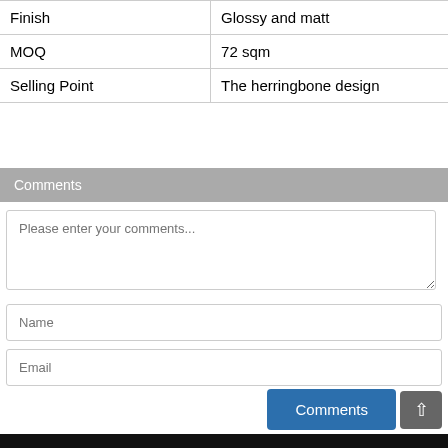| Finish | Glossy and matt |
| MOQ | 72 sqm |
| Selling Point | The herringbone design |
Comments
Please enter your comments...
Name
Email
Comments